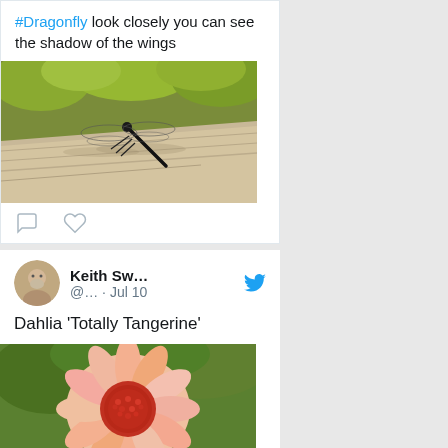#Dragonfly look closely you can see the shadow of the wings
[Figure (photo): Close-up photo of a dragonfly resting on a piece of driftwood, with green foliage in the background. The shadow of the dragonfly's wings is visible on the wood.]
[Figure (other): Comment and like/heart action icons]
Keith Sw... @... · Jul 10
Dahlia 'Totally Tangerine'
[Figure (photo): Close-up photo of a pink and orange dahlia flower with a red center, against a blurred green background.]